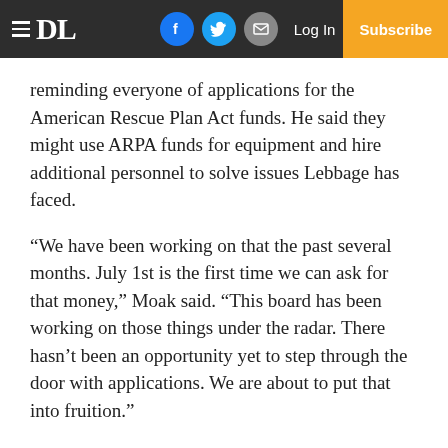DL | Log In | Subscribe
reminding everyone of applications for the American Rescue Plan Act funds. He said they might use ARPA funds for equipment and hire additional personnel to solve issues Lebbage has faced.
“We have been working on that the past several months. July 1st is the first time we can ask for that money,” Moak said. “This board has been working on those things under the radar. There hasn’t been an opportunity yet to step through the door with applications. We are about to put that into fruition.”
Other board actions